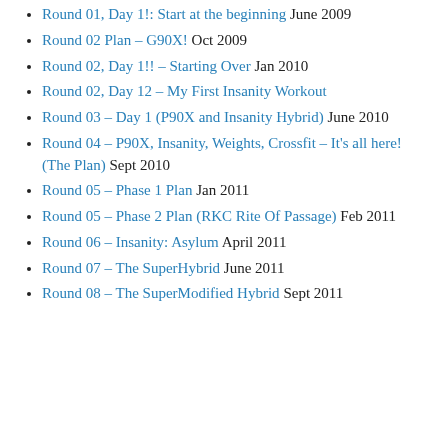Round 01, Day 1!: Start at the beginning June 2009
Round 02 Plan – G90X! Oct 2009
Round 02, Day 1!! – Starting Over Jan 2010
Round 02, Day 12 – My First Insanity Workout
Round 03 – Day 1 (P90X and Insanity Hybrid) June 2010
Round 04 – P90X, Insanity, Weights, Crossfit – It's all here! (The Plan) Sept 2010
Round 05 – Phase 1 Plan Jan 2011
Round 05 – Phase 2 Plan (RKC Rite Of Passage) Feb 2011
Round 06 – Insanity: Asylum April 2011
Round 07 – The SuperHybrid June 2011
Round 08 – The SuperModified Hybrid Sept 2011